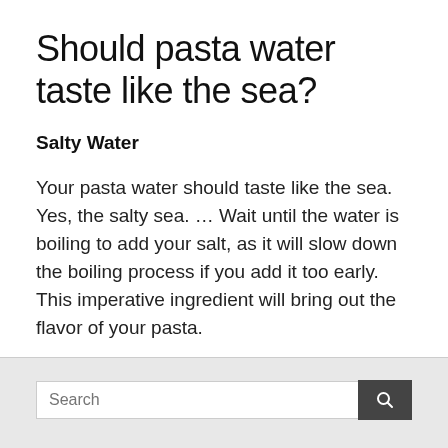Should pasta water taste like the sea?
Salty Water
Your pasta water should taste like the sea. Yes, the salty sea. … Wait until the water is boiling to add your salt, as it will slow down the boiling process if you add it too early. This imperative ingredient will bring out the flavor of your pasta.
Boiling
Search